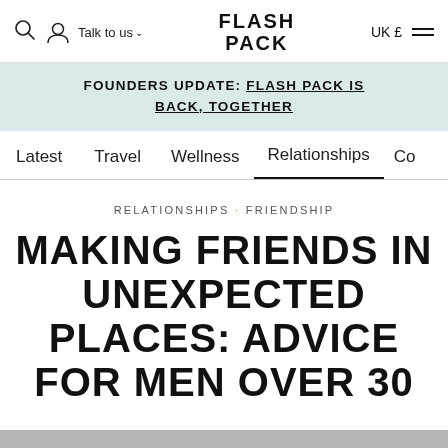FLASH PACK — Talk to us — UK £
FOUNDERS UPDATE: FLASH PACK IS BACK, TOGETHER
Latest  Travel  Wellness  Relationships  Co
RELATIONSHIPS · FRIENDSHIP
MAKING FRIENDS IN UNEXPECTED PLACES: ADVICE FOR MEN OVER 30